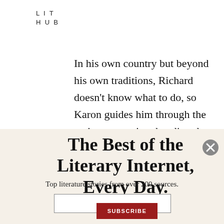LIT
HUB
In his own country but beyond his own traditions, Richard doesn't know what to do, so Karon guides him through the entire transaction, handing the woman an envelope filled with Euros and receiving a
The Best of the Literary Internet, Every Day.
Top literature stories from over 200 sources.